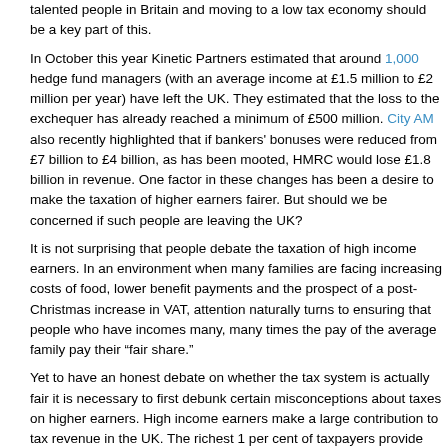talented people in Britain and moving to a low tax economy should be a key part of this.
In October this year Kinetic Partners estimated that around 1,000 hedge fund managers (with an average income at £1.5 million to £2 million per year) have left the UK. They estimated that the loss to the exchequer has already reached a minimum of £500 million. City AM also recently highlighted that if bankers' bonuses were reduced from £7 billion to £4 billion, as has been mooted, HMRC would lose £1.8 billion in revenue. One factor in these changes has been a desire to make the taxation of higher earners fairer. But should we be concerned if such people are leaving the UK?
It is not surprising that people debate the taxation of high income earners. In an environment when many families are facing increasing costs of food, lower benefit payments and the prospect of a post-Christmas increase in VAT, attention naturally turns to ensuring that people who have incomes many, many times the pay of the average family pay their "fair share."
Yet to have an honest debate on whether the tax system is actually fair it is necessary to first debunk certain misconceptions about taxes on higher earners. High income earners make a large contribution to tax revenue in the UK. The richest 1 per cent of taxpayers provide nearly a quarter of total income tax revenues and the richest 10 per cent provide over half. The UK relies on this group to fund a large proportion of public services.